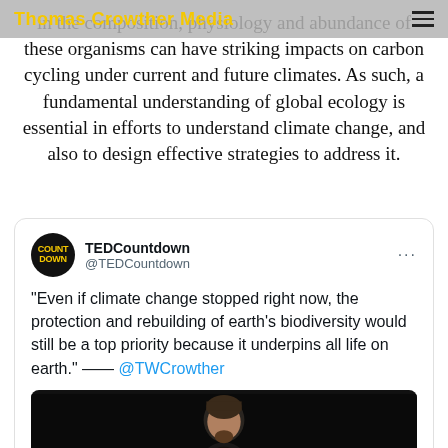Thomas Crowther Media
in the composition, physiology and abundance of these organisms can have striking impacts on carbon cycling under current and future climates. As such, a fundamental understanding of global ecology is essential in efforts to understand climate change, and also to design effective strategies to address it.
[Figure (screenshot): Tweet from @TEDCountdown quoting Thomas Crowther: 'Even if climate change stopped right now, the protection and rebuilding of earth's biodiversity would still be a top priority because it underpins all life on earth.' with photo of a man on dark stage.]